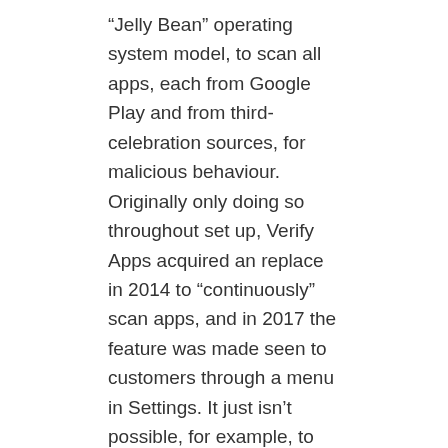“Jelly Bean” operating system model, to scan all apps, each from Google Play and from third-celebration sources, for malicious behaviour. Originally only doing so throughout set up, Verify Apps acquired an replace in 2014 to “continuously” scan apps, and in 2017 the feature was made seen to customers through a menu in Settings. It just isn’t possible, for example, to show off the microphone entry of the pre-put in camera app without disabling the digicam completely. Research from security company Trend Micro lists premium service abuse as the commonest kind of Android malware, where text messages are sent from contaminated telephones to premium-rate phone numbers with out the consent or even data of the user.